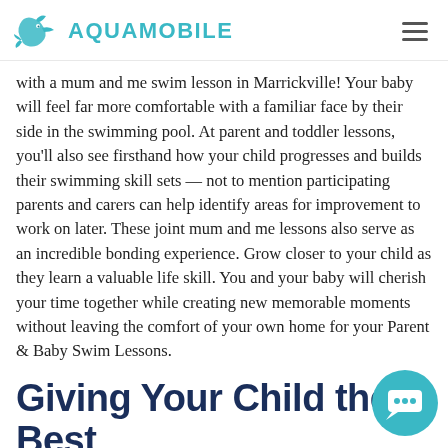AQUAMOBILE
with a mum and me swim lesson in Marrickville! Your baby will feel far more comfortable with a familiar face by their side in the swimming pool. At parent and toddler lessons, you'll also see firsthand how your child progresses and builds their swimming skill sets — not to mention participating parents and carers can help identify areas for improvement to work on later. These joint mum and me lessons also serve as an incredible bonding experience. Grow closer to your child as they learn a valuable life skill. You and your baby will cherish your time together while creating new memorable moments without leaving the comfort of your own home for your Parent & Baby Swim Lessons.
Giving Your Child the Best Swim Lessons Possible!